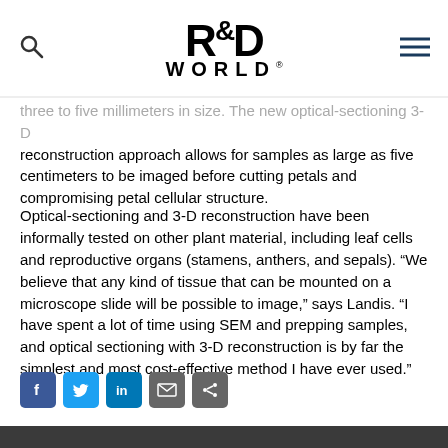R&D WORLD
three to five millimeters in size. The new optical-sectioning 3-D reconstruction approach allows for samples as large as five centimeters to be imaged before cutting petals and compromising petal cellular structure.
Optical-sectioning and 3-D reconstruction have been informally tested on other plant material, including leaf cells and reproductive organs (stamens, anthers, and sepals). “We believe that any kind of tissue that can be mounted on a microscope slide will be possible to image,” says Landis. “I have spent a lot of time using SEM and prepping samples, and optical sectioning with 3-D reconstruction is by far the simplest and most cost-effective method I have ever used.”
[Figure (infographic): Social sharing icons: Facebook, Twitter, LinkedIn, Email, Share]